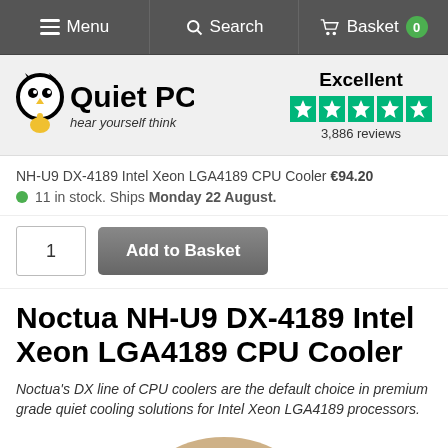Menu  Search  Basket 0
[Figure (logo): Quiet PC logo with owl icon and tagline 'hear yourself think']
[Figure (infographic): Trustpilot rating: Excellent, 5 green stars, 3,886 reviews]
NH-U9 DX-4189 Intel Xeon LGA4189 CPU Cooler €94.20
11 in stock. Ships Monday 22 August.
1  Add to Basket
Noctua NH-U9 DX-4189 Intel Xeon LGA4189 CPU Cooler
Noctua's DX line of CPU coolers are the default choice in premium grade quiet cooling solutions for Intel Xeon LGA4189 processors.
[Figure (photo): Partial photo of Noctua NH-U9 DX-4189 CPU cooler fan at bottom of page]